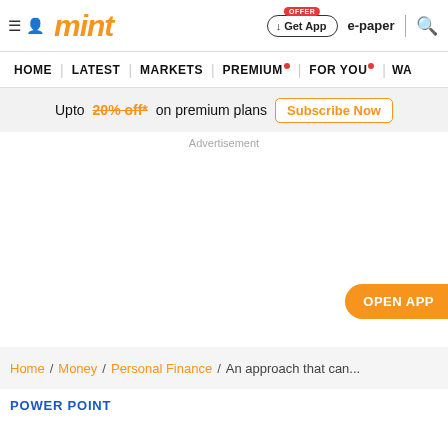mint — navigation header with Get App, e-paper, search
HOME | LATEST | MARKETS | PREMIUM | FOR YOU | WA...
Upto 20% off* on premium plans Subscribe Now
Advertisement
OPEN APP
Home / Money / Personal Finance / An approach that can...
POWER POINT